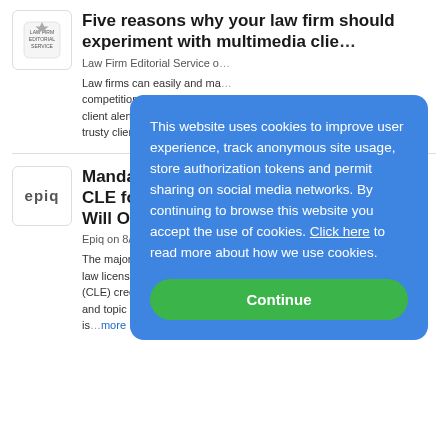[Figure (logo): Law Firm Editorial Service logo — small shield/crest icon]
Five reasons why your law firm should experiment with multimedia clie…
Law Firm Editorial Service on …
Law firms can easily and ma… competition by creating and… client alerts. For law firms, … trusty client alert an upgrade…
[Figure (logo): Epiq logo — lowercase 'epiq' text]
Mandated Cybe… CLE for New Yo… Will Other State…
Epiq on 8/17/2022
The majority of U.S. states r… law licenses to complete co… (CLE) credits. The number … and topic requirements diffe… is…more
This website uses cookies to improve user experience, track anonymous site usage, store authorization tokens and permit sharing on social media networks. By continuing to browse this website you accept the use of cookies. Click here to read more about how we use cookies.
Continue